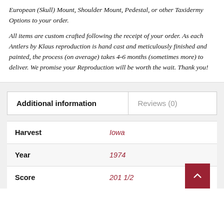European (Skull) Mount, Shoulder Mount, Pedestal, or other Taxidermy Options to your order.
All items are custom crafted following the receipt of your order.  As each Antlers by Klaus reproduction is hand cast and meticulously finished and painted, the process (on average) takes 4-6 months (sometimes more) to deliver.  We promise your Reproduction will be worth the wait.  Thank you!
|  | Additional information | Reviews (0) |
| --- | --- | --- |
| Harvest | Iowa |  |
| Year | 1974 |  |
| Score | 201 1/2 |  |